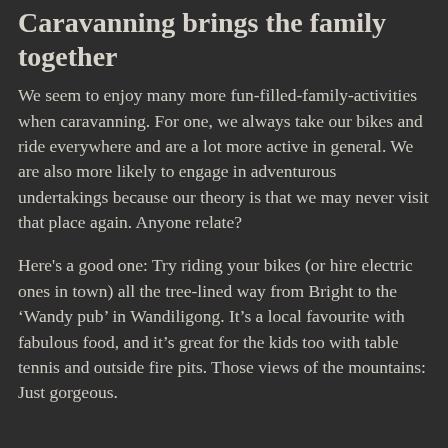Caravanning brings the family together
We seem to enjoy many more fun-filled-family-activities when caravanning. For one, we always take our bikes and ride everywhere and are a lot more active in general. We are also more likely to engage in adventurous undertakings because our theory is that we may never visit that place again. Anyone relate?
Here's a good one: Try riding your bikes (or hire electric ones in town) all the tree-lined way from Bright to the ‘Wandy pub’ in Wandiligong. It’s a local favourite with fabulous food, and it’s great for the kids too with table tennis and outside fire pits. Those views of the mountains: Just gorgeous.